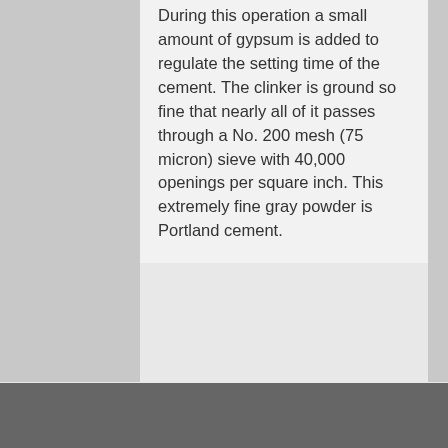During this operation a small amount of gypsum is added to regulate the setting time of the cement. The clinker is ground so fine that nearly all of it passes through a No. 200 mesh (75 micron) sieve with 40,000 openings per square inch. This extremely fine gray powder is Portland cement.
Contact Us!
(704) 971-7676
info@bluedotreadimix.com
EMPLOYEE LOGIN
Follow Us!
[Figure (illustration): Social media icons: Facebook, Instagram, Twitter, LinkedIn]